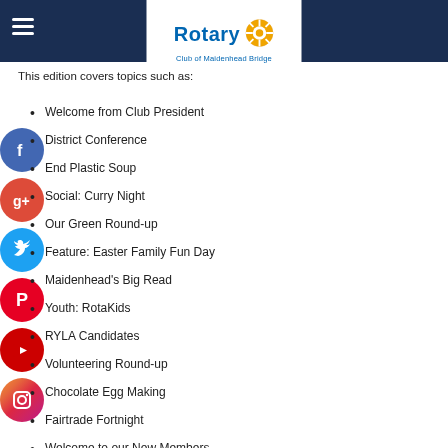Rotary Club of Maidenhead Bridge
This edition covers topics such as:
Welcome from Club President
District Conference
End Plastic Soup
Social: Curry Night
Our Green Round-up
Feature: Easter Family Fun Day
Maidenhead's Big Read
Youth: RotaKids
RYLA Candidates
Volunteering Round-up
Chocolate Egg Making
Fairtrade Fortnight
Welcome to our New Members